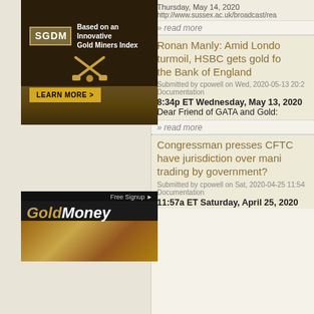[Figure (illustration): SGDM advertisement: Based on an Innovative Gold Miners Index, with LEARN MORE button]
[Figure (illustration): GoldMoney Free Signup advertisement with gold bars image]
Thursday, May 14, 2020
http://www.sussex.ac.uk/broadcast/rea
» read more
Ronan Manly: Amid London turmoil, HSBC gets gold for the Bank of England
Submitted by cpowell on Wed, 2020-05-13 20:2
Documentation
8:34p ET Wednesday, May 13, 2020
Dear Friend of GATA and Gold:
» read more
Congressman presses CFTC: Does it have jurisdiction over manipulation trading by government?
Submitted by cpowell on Sat, 2020-04-25 11:54
Documentation
11:57a ET Saturday, April 25, 2020